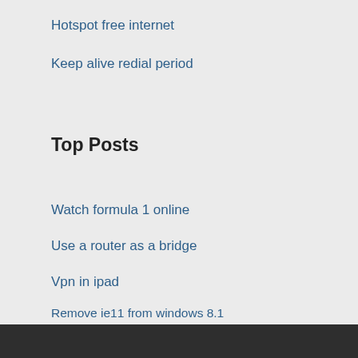Hotspot free internet
Keep alive redial period
Top Posts
Watch formula 1 online
Use a router as a bridge
Vpn in ipad
Remove ie11 from windows 8.1
Ip loctor